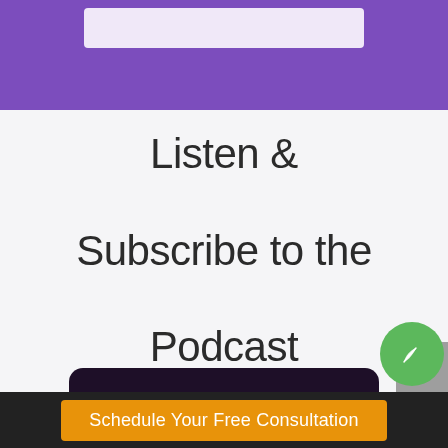[Figure (screenshot): Purple header bar with a light-colored inner rectangle, part of a website UI]
Listen & Subscribe to the Podcast
[Figure (screenshot): Dark rounded card showing 'Communication' text in magenta/pink color, partially visible]
[Figure (screenshot): Grey scroll-to-top button with upward arrow]
[Figure (screenshot): Green circle button with leaf/eco icon]
Schedule Your Free Consultation